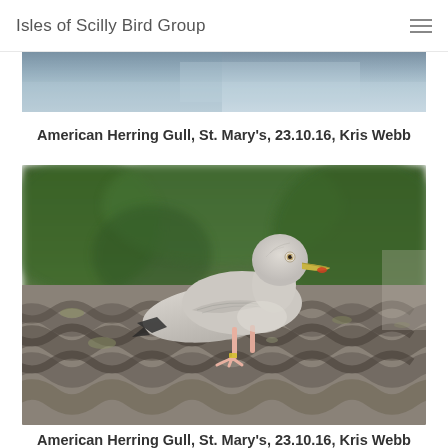Isles of Scilly Bird Group
[Figure (photo): Top portion of a partially cropped photograph showing a grey/blue sky with some darker tones — the top of the previous image.]
American Herring Gull, St. Mary's, 23.10.16, Kris Webb
[Figure (photo): Photograph of an American Herring Gull standing on a corrugated concrete/asbestos roof tile, with a blurred green foliage background. The gull is pale grey and white, with a yellow-tipped bill, pink legs, and dark wingtip feathers.]
American Herring Gull, St. Mary's, 23.10.16, Kris Webb